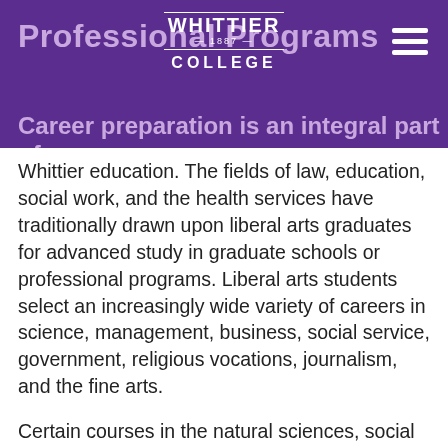Professional Programs
[Figure (logo): Whittier College logo with text WHITTIER 1887 COLLEGE in white on purple background]
Career preparation is an integral part of a Whittier education. The fields of law, education, social work, and the health services have traditionally drawn upon liberal arts graduates for advanced study in graduate schools or professional programs. Liberal arts students select an increasingly wide variety of careers in science, management, business, social service, government, religious vocations, journalism, and the fine arts.
Certain courses in the natural sciences, social sciences, and the humanities are generally required by professional schools for admission. Whittier College also offers more advanced courses that fulfill certain professional requirements. The following programs are